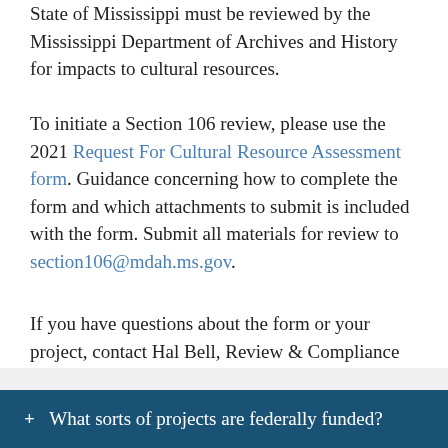State of Mississippi must be reviewed by the Mississippi Department of Archives and History for impacts to cultural resources.
To initiate a Section 106 review, please use the 2021 Request For Cultural Resource Assessment form. Guidance concerning how to complete the form and which attachments to submit is included with the form. Submit all materials for review to section106@mdah.ms.gov.
If you have questions about the form or your project, contact Hal Bell, Review & Compliance Officer, at 601-576-6957 or hbell@mdah.ms.gov.
+ What sorts of projects are federally funded?